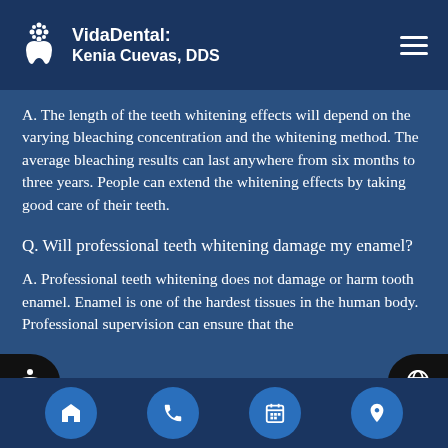VidaDental: Kenia Cuevas, DDS
A. The length of the teeth whitening effects will depend on the varying bleaching concentration and the whitening method. The average bleaching results can last anywhere from six months to three years. People can extend the whitening effects by taking good care of their teeth.
Q. Will professional teeth whitening damage my enamel?
A. Professional teeth whitening does not damage or harm tooth enamel. Enamel is one of the hardest tissues in the human body. Professional supervision can ensure that the
Navigation icons: home, phone, calendar, location